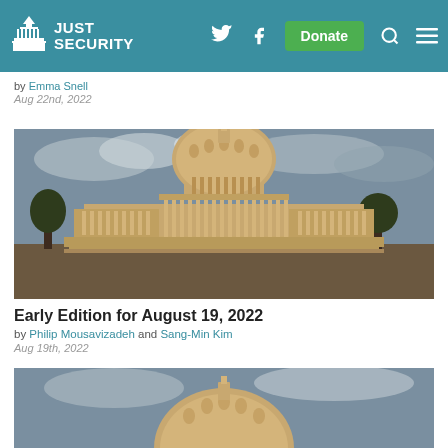Just Security — Navigation header with logo, Twitter, Facebook, Donate button, Search, Menu
by Emma Snell
Aug 22nd, 2022
[Figure (photo): Photograph of the United States Capitol building exterior with dome, warm golden light, cloudy sky]
Early Edition for August 19, 2022
by Philip Mousavizadeh and Sang-Min Kim
Aug 19th, 2022
[Figure (photo): Partial photograph of the United States Capitol building dome, warm light, cloudy sky (cropped at bottom of page)]